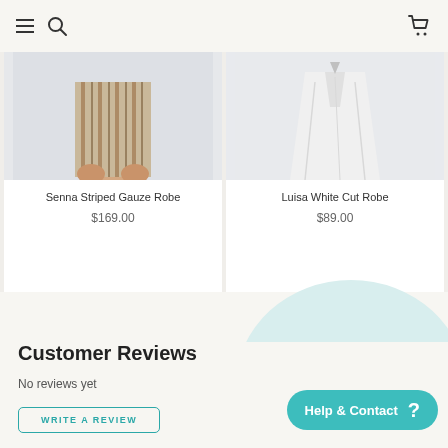Navigation bar with hamburger menu, search icon, and cart icon
[Figure (photo): Product photo of Senna Striped Gauze Robe — striped garment held by a person, partially cropped]
Senna Striped Gauze Robe
$169.00
[Figure (photo): Product photo of Luisa White Cut Robe — white garment, partially cropped]
Luisa White Cut Robe
$89.00
Customer Reviews
No reviews yet
WRITE A REVIEW
[Figure (illustration): Teal Help & Contact button with question mark icon, over a light blue circular background]
Help & Contact ?